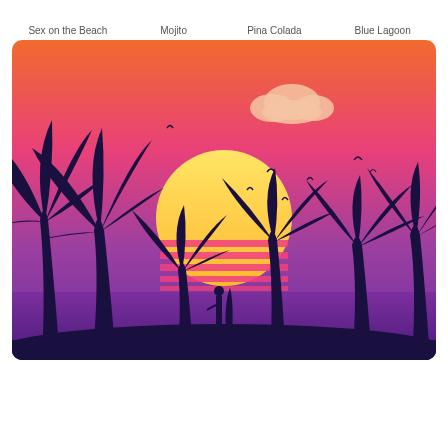Sex on the Beach
Mojito
Pina Colada
Blue Lagoon
[Figure (illustration): Tropical beach sunset illustration with palm tree silhouettes, a surfer standing with surfboard, birds in the sky, a large yellow sun setting on the horizon, gradient sky from orange to purple, horizontal pink stripes near horizon, and a cloud in the upper center.]